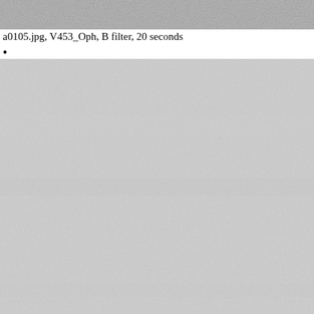[Figure (photo): Astronomical/telescope image showing a noisy gray field, top strip, likely a CCD image of V453 Ophiuchi through B filter]
a0105.jpg, V453_Oph, B filter, 20 seconds
•
[Figure (photo): Astronomical/telescope image showing a large noisy gray field with subtle banding, CCD image of V453 Ophiuchi through B filter, 20 second exposure]